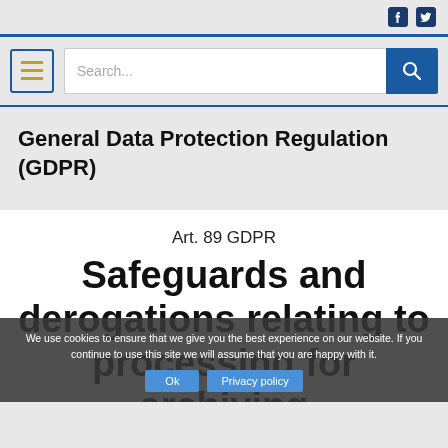[Figure (screenshot): Website header with Facebook and Twitter social icons in top right corner]
[Figure (screenshot): Navigation bar with hamburger menu icon (yellow lines), search input field with placeholder 'Search...', and blue search button with magnifying glass icon]
General Data Protection Regulation (GDPR)
Art. 89 GDPR
Safeguards and derogations relating to processing for archiving
We use cookies to ensure that we give you the best experience on our website. If you continue to use this site we will assume that you are happy with it.